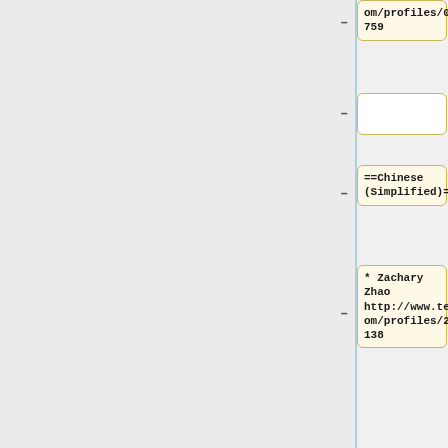om/profiles/000759
==Chinese (Simplified)==
* Zachary Zhao http://www.ted.com/profiles/249138
* Chaoran Yu http://www.ted.com/profiles/336685
* Felix Chen http://www.ted.com/profiles/495543
* Tony Yet http://www.ted.c